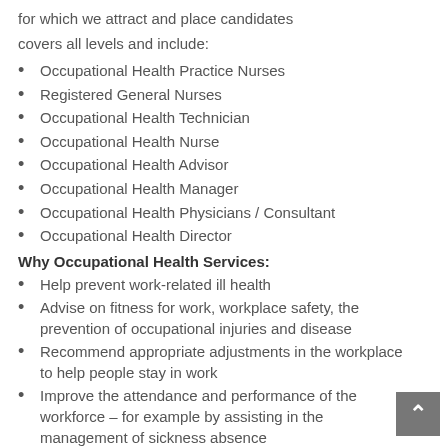for which we attract and place candidates
covers all levels and include:
Occupational Health Practice Nurses
Registered General Nurses
Occupational Health Technician
Occupational Health Nurse
Occupational Health Advisor
Occupational Health Manager
Occupational Health Physicians / Consultant
Occupational Health Director
Why Occupational Health Services:
Help prevent work-related ill health
Advise on fitness for work, workplace safety, the prevention of occupational injuries and disease
Recommend appropriate adjustments in the workplace to help people stay in work
Improve the attendance and performance of the workforce – for example by assisting in the management of sickness absence
Provide rehabilitation to help people return to work, and give advice on alternative suitable work for people with health problems
Promote health in the workplace and healthy lifestyles
Recommend and implement appropriate policies to maintain a safe and healthy workplace
Conduct research into work related health issues
Ensure compliance with health and safety regulations including minimising and